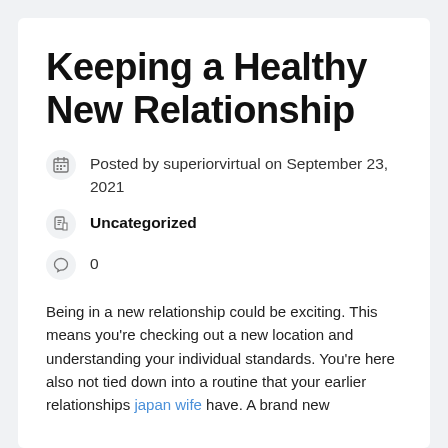Keeping a Healthy New Relationship
Posted by superiorvirtual on September 23, 2021
Uncategorized
0
Being in a new relationship could be exciting. This means you're checking out a new location and understanding your individual standards. You're here also not tied down into a routine that your earlier relationships japan wife have. A brand new